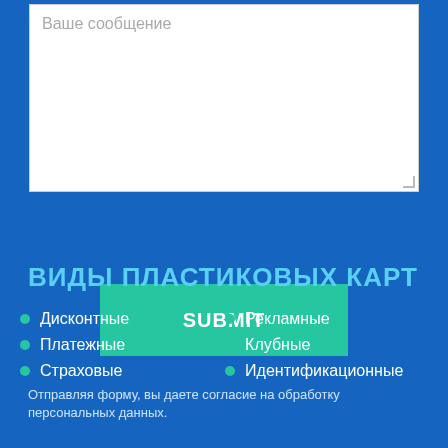[Figure (screenshot): White textarea input field with placeholder text 'Ваше сообщение' on a blue background, with a resize handle at bottom right]
Ваше сообщение
SUBMIT
Отправляя форму, вы даете согласие на обработку персональных данных.
ВИДЫ ПЛАСТИКОВЫХ КАРТ
Дисконтные
Рекламные
Платежные
Клубные
Страховые
Идентификационные